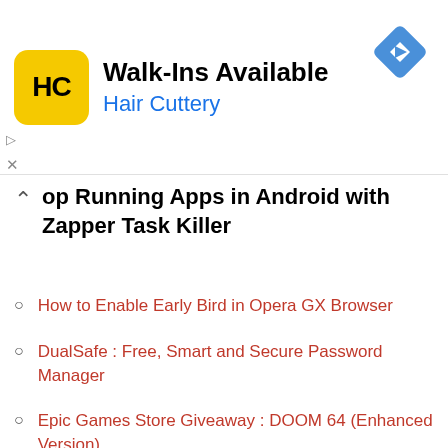[Figure (other): Hair Cuttery advertisement banner with yellow logo showing HC, text 'Walk-Ins Available' and 'Hair Cuttery' in blue, and a blue navigation diamond icon on the right]
op Running Apps in Android with Zapper Task Killer
How to Enable Early Bird in Opera GX Browser
DualSafe : Free, Smart and Secure Password Manager
Epic Games Store Giveaway : DOOM 64 (Enhanced Version)
How to Change Notification Dismiss Time on Windows 11